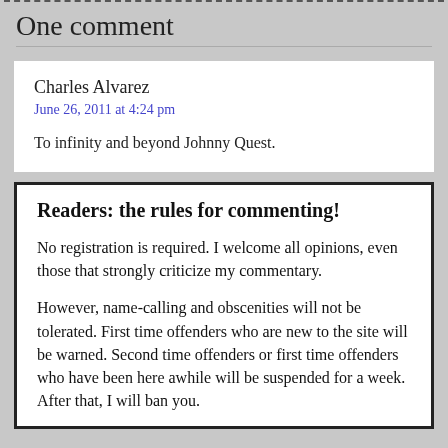One comment
Charles Alvarez
June 26, 2011 at 4:24 pm

To infinity and beyond Johnny Quest.
Readers: the rules for commenting!
No registration is required. I welcome all opinions, even those that strongly criticize my commentary.
However, name-calling and obscenities will not be tolerated. First time offenders who are new to the site will be warned. Second time offenders or first time offenders who have been here awhile will be suspended for a week. After that, I will ban you.